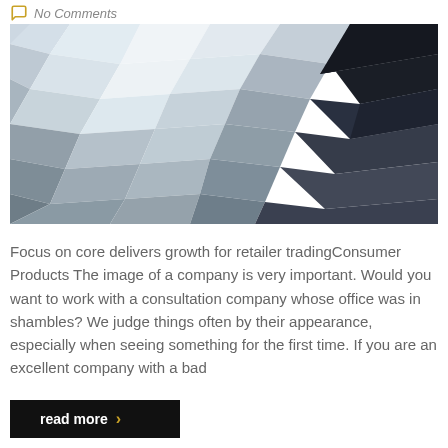No Comments
[Figure (illustration): Abstract low-poly geometric background image with polygonal shapes ranging from light blue, white, and gray on the left to dark navy and black on the right.]
Focus on core delivers growth for retailer tradingConsumer Products The image of a company is very important. Would you want to work with a consultation company whose office was in shambles? We judge things often by their appearance, especially when seeing something for the first time. If you are an excellent company with a bad
read more >